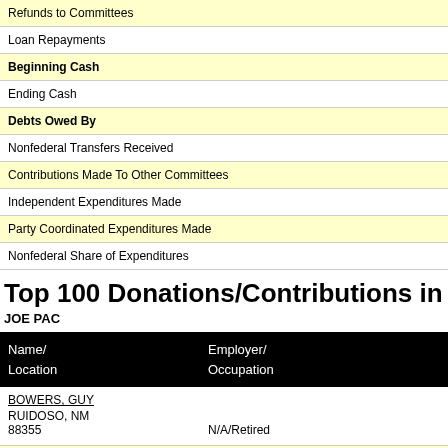Refunds to Committees
Loan Repayments
Beginning Cash
Ending Cash
Debts Owed By
Nonfederal Transfers Received
Contributions Made To Other Committees
Independent Expenditures Made
Party Coordinated Expenditures Made
Nonfederal Share of Expenditures
Top 100 Donations/Contributions in the 2012 Election C
JOE PAC
| Name/ Location | Employer/ Occupation |
| --- | --- |
| BOWERS, GUY
RUIDOSO, NM
88355 | N/A/Retired |
| KATZ, CARY
LAS VEGAS, NV
89134 | College Loan Corporation/Ceo |